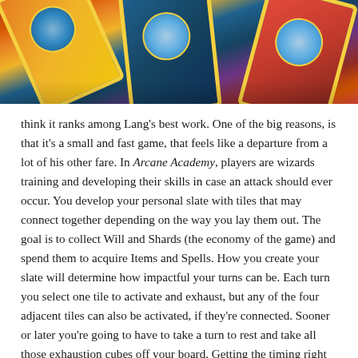[Figure (photo): Close-up photo of colorful fantasy card game cards with blue gemstone/orb designs and gold borders, showing Arcane Academy game components.]
think it ranks among Lang's best work. One of the big reasons, is that it's a small and fast game, that feels like a departure from a lot of his other fare. In Arcane Academy, players are wizards training and developing their skills in case an attack should ever occur. You develop your personal slate with tiles that may connect together depending on the way you lay them out. The goal is to collect Will and Shards (the economy of the game) and spend them to acquire Items and Spells. How you create your slate will determine how impactful your turns can be. Each turn you select one tile to activate and exhaust, but any of the four adjacent tiles can also be activated, if they're connected. Sooner or later you're going to have to take a turn to rest and take all those exhaustion cubes off your board. Getting the timing right for that is key. Arcane Academy is pretty anomalous in Lang's catalogue, but I definitely recommend checking it out.